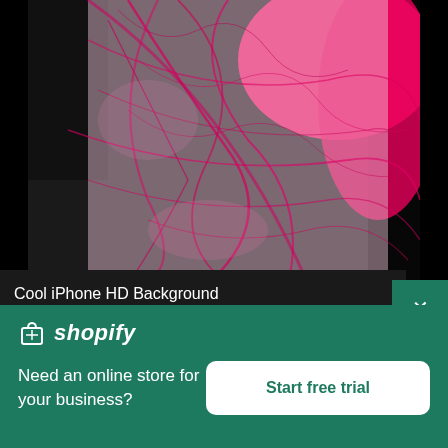[Figure (photo): Colorful pink and magenta ink swirls on a white/dark background — Cool iPhone HD Background]
Cool iPhone HD Background
[Figure (logo): Shopify logo with bag icon and italic wordmark in white on teal/green background]
Need an online store for your business?
Start free trial